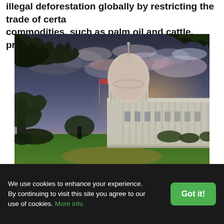illegal deforestation globally by restricting the trade of certain commodities, such as palm oil and cattle, produced with the...
[Figure (photo): Photograph of the United States Capitol building at dusk/sunset, with dramatic cloudy sky, trees framing the top corners, and a green lawn in the foreground.]
We use cookies to enhance your experience. By continuing to visit this site you agree to our use of cookies. More info